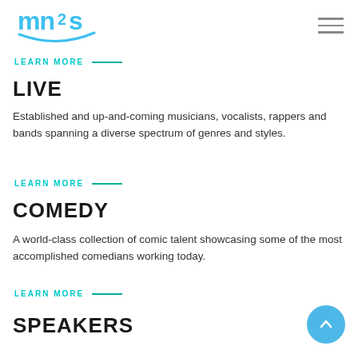mn2s logo and navigation menu
LEARN MORE
LIVE
Established and up-and-coming musicians, vocalists, rappers and bands spanning a diverse spectrum of genres and styles.
LEARN MORE
COMEDY
A world-class collection of comic talent showcasing some of the most accomplished comedians working today.
LEARN MORE
SPEAKERS